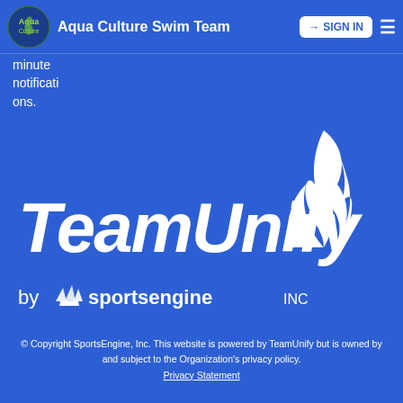Aqua Culture Swim Team  SIGN IN
minute notifications.
[Figure (logo): TeamUnify by SportsEngine INC logo — white flame icon above italic 'TeamUnify' text and 'by sportsengine INC' below, all white on blue background]
© Copyright SportsEngine, Inc. This website is powered by TeamUnify but is owned by and subject to the Organization's privacy policy.
Privacy Statement